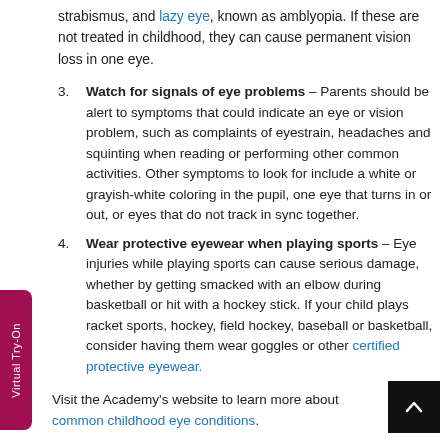strabismus, and lazy eye, known as amblyopia. If these are not treated in childhood, they can cause permanent vision loss in one eye.
3. Watch for signals of eye problems – Parents should be alert to symptoms that could indicate an eye or vision problem, such as complaints of eyestrain, headaches and squinting when reading or performing other common activities. Other symptoms to look for include a white or grayish-white coloring in the pupil, one eye that turns in or out, or eyes that do not track in sync together.
4. Wear protective eyewear when playing sports – Eye injuries while playing sports can cause serious damage, whether by getting smacked with an elbow during basketball or hit with a hockey stick. If your child plays racket sports, hockey, field hockey, baseball or basketball, consider having them wear goggles or other certified protective eyewear.
Visit the Academy's website to learn more about common childhood eye conditions.